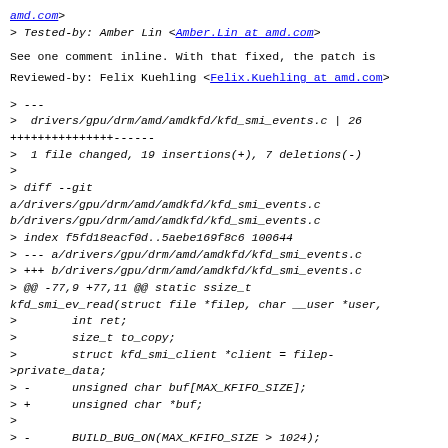amd.com>
> Tested-by: Amber Lin <Amber.Lin at amd.com>
See one comment inline. With that fixed, the patch is
Reviewed-by: Felix Kuehling <Felix.Kuehling at amd.com>
> ---
>  drivers/gpu/drm/amd/amdkfd/kfd_smi_events.c | 26
+++++++++++++++------
>  1 file changed, 19 insertions(+), 7 deletions(-)
>
> diff --git
a/drivers/gpu/drm/amd/amdkfd/kfd_smi_events.c
b/drivers/gpu/drm/amd/amdkfd/kfd_smi_events.c
> index f5fd18eacf0d..5aebe169f8c6 100644
> --- a/drivers/gpu/drm/amd/amdkfd/kfd_smi_events.c
> +++ b/drivers/gpu/drm/amd/amdkfd/kfd_smi_events.c
> @@ -77,9 +77,11 @@ static ssize_t
kfd_smi_ev_read(struct file *filep, char __user *user,
>         int ret;
>         size_t to_copy;
>         struct kfd_smi_client *client = filep-
>private_data;
> -       unsigned char buf[MAX_KFIFO_SIZE];
> +       unsigned char *buf;
>
> -       BUILD_BUG_ON(MAX_KFIFO_SIZE > 1024);
> +       buf = kzalloc(MAX_KFIFO_SIZE * sizeof(*buf),